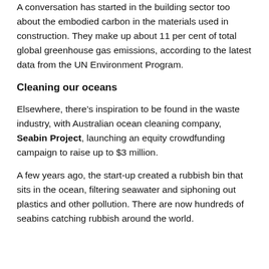A conversation has started in the building sector too about the embodied carbon in the materials used in construction. They make up about 11 per cent of total global greenhouse gas emissions, according to the latest data from the UN Environment Program.
Cleaning our oceans
Elsewhere, there's inspiration to be found in the waste industry, with Australian ocean cleaning company, Seabin Project, launching an equity crowdfunding campaign to raise up to $3 million.
A few years ago, the start-up created a rubbish bin that sits in the ocean, filtering seawater and siphoning out plastics and other pollution. There are now hundreds of seabins catching rubbish around the world.